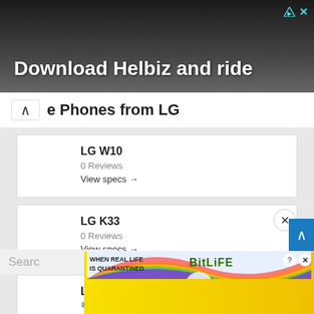[Figure (photo): Advertisement banner showing a person with camera equipment. Text reads 'Download Helbiz and ride']
e Phones from LG
LG W10
0 Reviews
View specs →
LG K33
0 Reviews
View specs →
LG Stylo 5
₹19,999.00
View specs →
[Figure (photo): BitLife app advertisement with rainbow background and text 'WHEN REAL LIFE IS QUARANTINED']